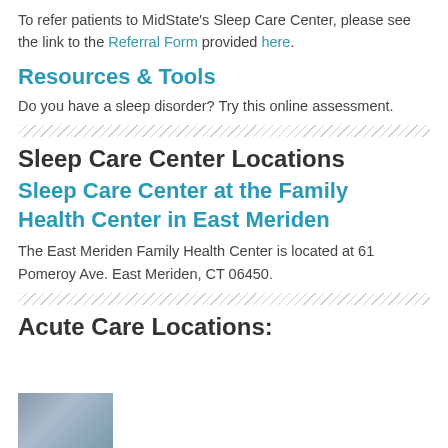To refer patients to MidState's Sleep Care Center, please see the link to the Referral Form provided here.
Resources & Tools
Do you have a sleep disorder? Try this online assessment.
Sleep Care Center Locations
Sleep Care Center at the Family Health Center in East Meriden
The East Meriden Family Health Center is located at 61 Pomeroy Ave. East Meriden, CT 06450.
Acute Care Locations:
[Figure (photo): Small thumbnail photo at bottom left of page]